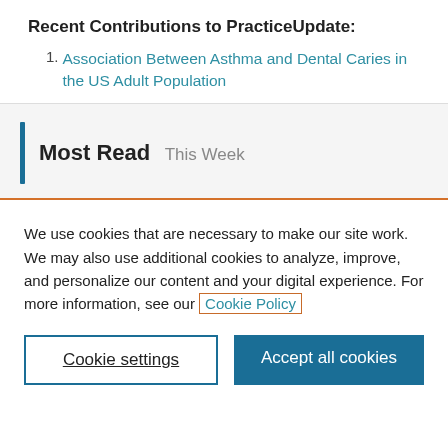Recent Contributions to PracticeUpdate:
Association Between Asthma and Dental Caries in the US Adult Population
Most Read This Week
We use cookies that are necessary to make our site work. We may also use additional cookies to analyze, improve, and personalize our content and your digital experience. For more information, see our Cookie Policy
Cookie settings
Accept all cookies